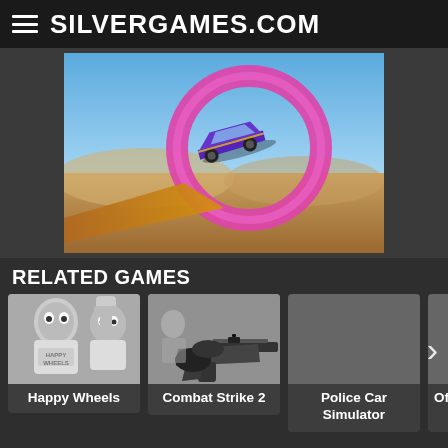SILVERGAMES.COM
[Figure (screenshot): A purple sports car performing a stunt through a pink loop on a desert track with blue sky background]
RELATED GAMES
[Figure (screenshot): Happy Wheels game thumbnail - grayscale image of bearded character in t-shirt]
Happy Wheels
[Figure (screenshot): Combat Strike 2 game thumbnail - grayscale first-person shooter with assault rifle]
Combat Strike 2
Police Car Simulator
Offroader v5
TOP STUNT GAMES